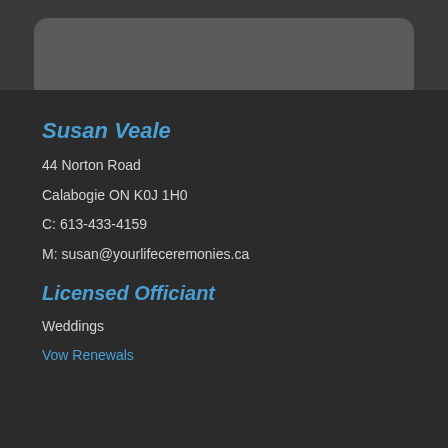[Figure (photo): Partial photo at top of page showing people, cropped with rounded corners, on a dark background]
Susan Veale
44 Norton Road
Calabogie ON K0J 1H0
C: 613-433-4159
M: susan@yourlifeceremonies.ca
Licensed Officiant
Weddings
Vow Renewals